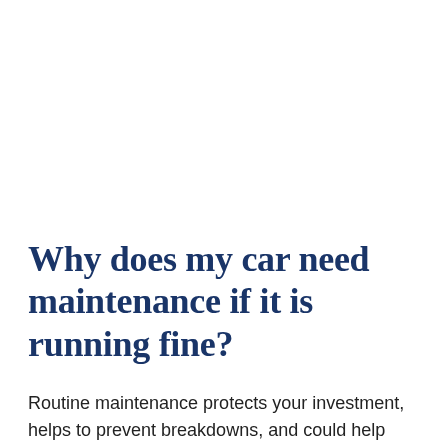Why does my car need maintenance if it is running fine?
Routine maintenance protects your investment, helps to prevent breakdowns, and could help